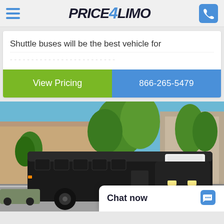Price4Limo
Shuttle buses will be the best vehicle for
View Pricing | 866-265-5479
[Figure (photo): A black shuttle bus parked outside a commercial building with trees in the background and blue sky]
Chat now